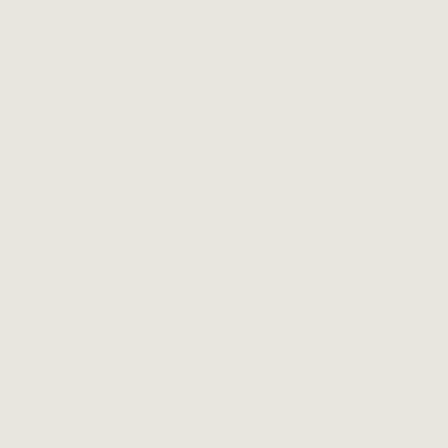garden, I have transplanted seedlings into the veg plot, we now have carrots, beetroot and parsnips. I also have spring onions, radishes and salad leaves to go in. My onions and leeks are doing well. My tomato plants are also coming along well.
[Figure (photo): Photo of two plant containers: a green rectangular tray with small leafy seedlings in dark soil, and a large black round pot with a young tomato plant and a stick/cane, sitting on what appears to be a greenhouse bench with green netting visible in the background.]
In my pots I have loads of flowers
[Figure (photo): Close-up photo of a red flower (appears to be a poppy or similar red bloom) on a paved/tiled surface, partially visible at the bottom of the page.]